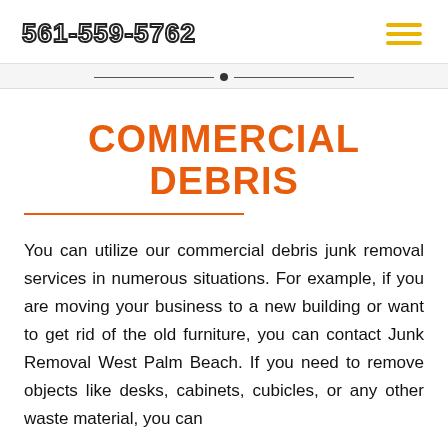561-559-5762
COMMERCIAL DEBRIS
You can utilize our commercial debris junk removal services in numerous situations. For example, if you are moving your business to a new building or want to get rid of the old furniture, you can contact Junk Removal West Palm Beach. If you need to remove objects like desks, cabinets, cubicles, or any other waste material, you can